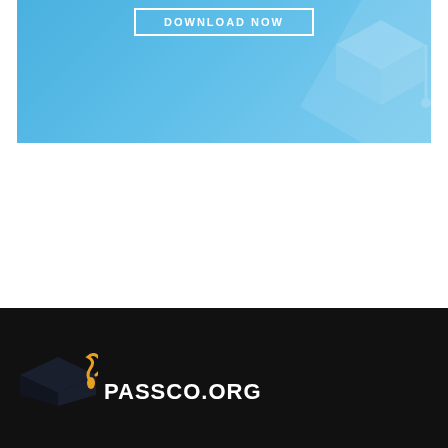[Figure (illustration): Blue banner with a 'DOWNLOAD NOW' button outlined in white, decorative diagonal shape overlay on right side, light blue gradient background]
[Figure (logo): Passco.org logo on black footer: graduation cap icon (dark with yellow tassel) next to bold white uppercase text 'PASSCO.ORG']